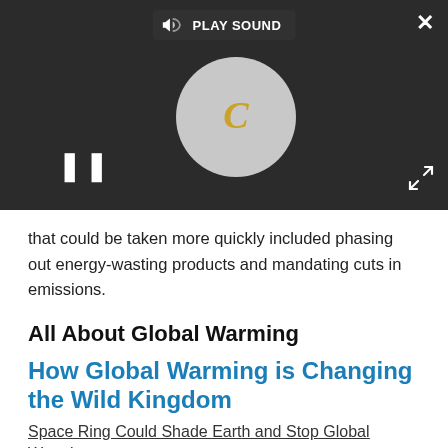[Figure (screenshot): Video player overlay with dark background showing a circular vinyl/loading graphic with a golden italic C, pause button on lower left, play sound bar at top, close X button top right, and expand arrows bottom right.]
that could be taken more quickly included phasing out energy-wasting products and mandating cuts in emissions.
All About Global Warming
How Global Warming is Changing the Wild Kingdom
Space Ring Could Shade Earth and Stop Global Warming